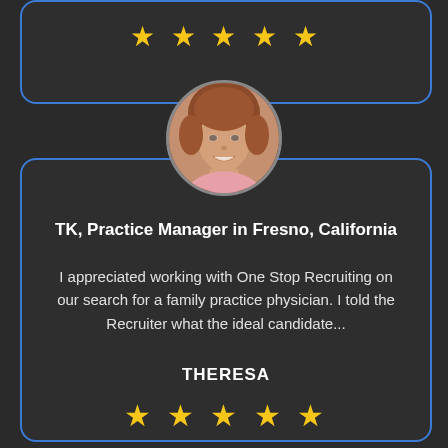[Figure (other): Five gold stars rating displayed at top of first card (partially visible)]
[Figure (photo): Circular profile photo of a middle-aged woman with short brown hair, smiling, wearing a pink top]
TK, Practice Manager in Fresno, California
I appreciated working with One Stop Recruiting on our search for a family practice physician. I told the Recruiter what the ideal candidate...
THERESA
[Figure (other): Five gold stars rating displayed at bottom of second card]